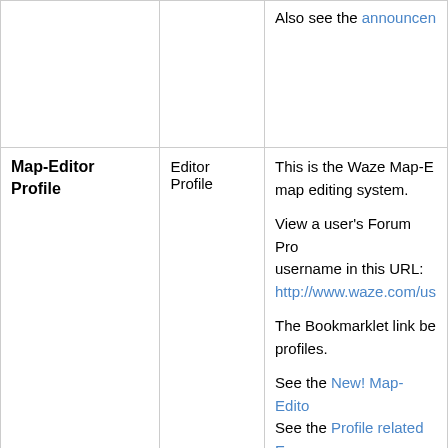| Feature | Category | Description |
| --- | --- | --- |
|  |  | Also see the announcement |
| Map-Editor Profile | Editor Profile | This is the Waze Map-Editor map editing system.

View a user's Forum Profile by replacing username in this URL: http://www.waze.com/us

The Bookmarklet link below opens profiles.

See the New! Map-Editor
See the Profile related E
Related entries: Profile |